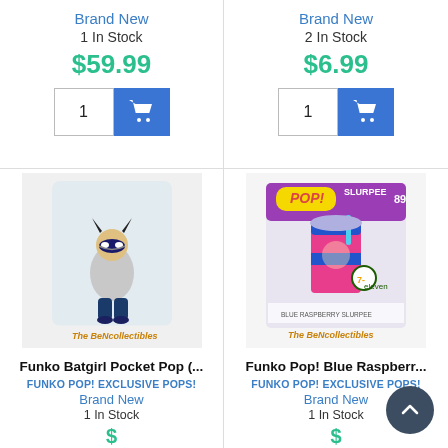Brand New
1 In Stock
$59.99
Brand New
2 In Stock
$6.99
[Figure (photo): Funko Batgirl Pocket Pop figure in plastic bag with The BeNcollectibles logo watermark]
Funko Batgirl Pocket Pop (...
FUNKO POP! EXCLUSIVE POPS!
Brand New
1 In Stock
[Figure (photo): Funko Pop! Blue Raspberry Slurpee #89 in box with The BeNcollectibles logo watermark]
Funko Pop! Blue Raspberr...
FUNKO POP! EXCLUSIVE POPS!
Brand New
1 In Stock